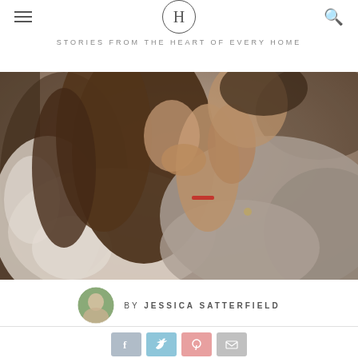H — STORIES FROM THE HEART OF EVERY HOME
[Figure (photo): Close-up photo of a couple in an intimate embrace, the man in a grey knit sweater kissing the woman who wears a white lace sweater, her long brown hair visible, his hand on her neck, she has a ring on her finger]
BY JESSICA SATTERFIELD